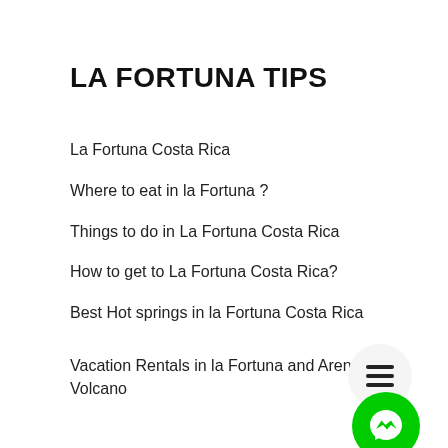LA FORTUNA TIPS
La Fortuna Costa Rica
Where to eat in la Fortuna ?
Things to do in La Fortuna Costa Rica
How to get to La Fortuna Costa Rica?
Best Hot springs in la Fortuna Costa Rica
Vacation Rentals in la Fortuna and Arena Volcano